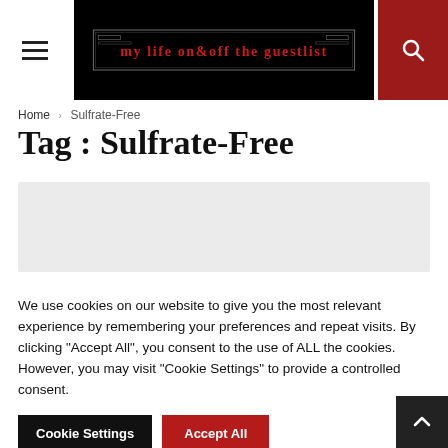My Life On & Off The Guestlist — navigation header with hamburger menu, logo, and search icon
Home › Sulfrate-Free
Tag : Sulfrate-Free
[Figure (other): Gray advertisement placeholder box]
We use cookies on our website to give you the most relevant experience by remembering your preferences and repeat visits. By clicking "Accept All", you consent to the use of ALL the cookies. However, you may visit "Cookie Settings" to provide a controlled consent.
Cookie Settings | Accept All